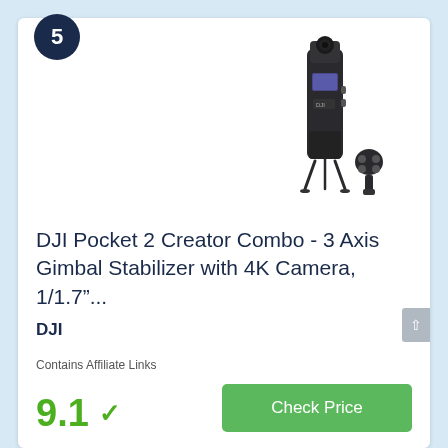5
[Figure (photo): DJI Pocket 2 Creator Combo product photo showing the gimbal camera on a small tripod with a wireless microphone accessory]
DJI Pocket 2 Creator Combo - 3 Axis Gimbal Stabilizer with 4K Camera, 1/1.7"...
DJI
Contains Affiliate Links
9.1 ✓
Check Price